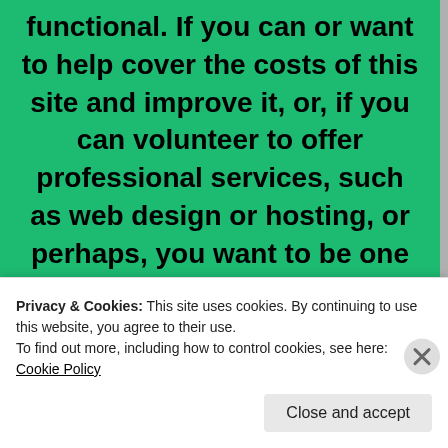functional. If you can or want to help cover the costs of this site and improve it, or, if you can volunteer to offer professional services, such as web design or hosting, or perhaps, you want to be one of our local regular authors, please don't wait to get in contact and tell us how you would be able to
Privacy & Cookies: This site uses cookies. By continuing to use this website, you agree to their use.
To find out more, including how to control cookies, see here: Cookie Policy
Close and accept